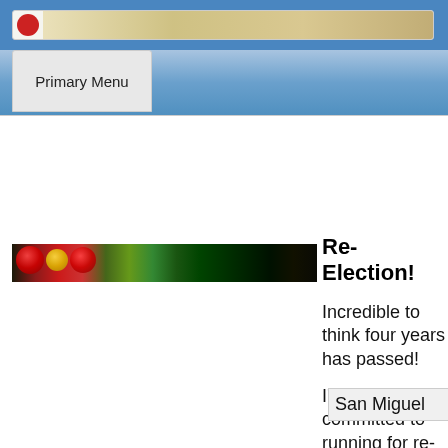[Figure (screenshot): Browser top bar with address bar showing a red circle icon and a map/image strip]
Primary Menu
[Figure (photo): Dark green banner image with red, yellow, and red bokeh circles on the left side]
Re-Election!
Incredible to think four years has passed!
I'm fully committed to running for re-election for a second (and last) four year term.  San Miguel